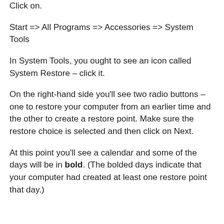Click on.
Start => All Programs => Accessories => System Tools
In System Tools, you ought to see an icon called System Restore – click it.
On the right-hand side you'll see two radio buttons – one to restore your computer from an earlier time and the other to create a restore point. Make sure the restore choice is selected and then click on Next.
At this point you'll see a calendar and some of the days will be in bold. (The bolded days indicate that your computer had created at least one restore point that day.)